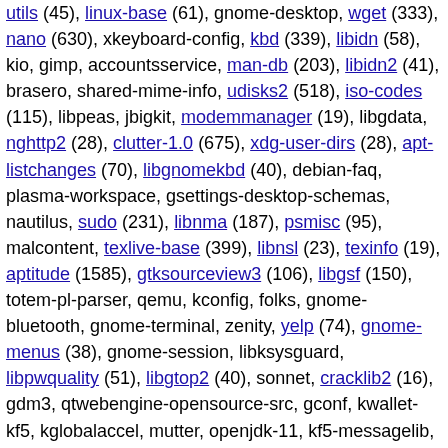utils (45), linux-base (61), gnome-desktop, wget (333), nano (630), xkeyboard-config, kbd (339), libidn (58), kio, gimp, accountsservice, man-db (203), libidn2 (41), brasero, shared-mime-info, udisks2 (518), iso-codes (115), libpeas, jbigkit, modemmanager (19), libgdata, nghttp2 (28), clutter-1.0 (675), xdg-user-dirs (28), apt-listchanges (70), libgnomekbd (40), debian-faq, plasma-workspace, gsettings-desktop-schemas, nautilus, sudo (231), libnma (187), psmisc (95), malcontent, texlive-base (399), libnsl (23), texinfo (19), aptitude (1585), gtksourceview3 (106), libgsf (150), totem-pl-parser, qemu, kconfig, folks, gnome-bluetooth, gnome-terminal, zenity, yelp (74), gnome-menus (38), gnome-session, libksysguard, libpwquality (51), libgtop2 (40), sonnet, cracklib2 (16), gdm3, qtwebengine-opensource-src, gconf, kwallet-kf5, kglobalaccel, mutter, openjdk-11, kf5-messagelib, gucharmap, akonadi, gnome-shell, fwupd, libvirt (10472), mailutils (1966), gtksourceview4 (13), net-tools, make-dfsg (430), spice-gtk, akonadi-search, transmission, libexif, gegl, kwin, gspell (31), clutter-gtk (1), gutenprint (4864), gnome-todo, kservice,